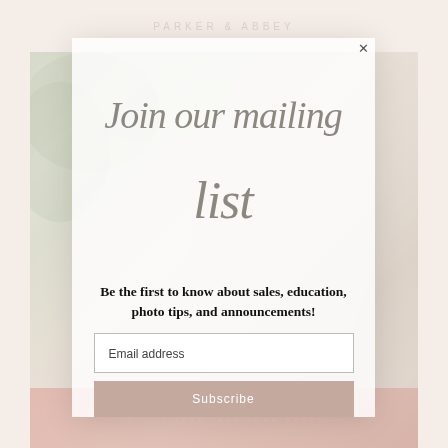PARKER & ABBEY
[Figure (photo): Wedding couple embracing outdoors, soft greenery background, muted romantic tones]
Join our mailing list
Be the first to know about sales, education, photo tips, and announcements!
Email address
Subscribe
IMAGES THAT TELL YOUR STORY